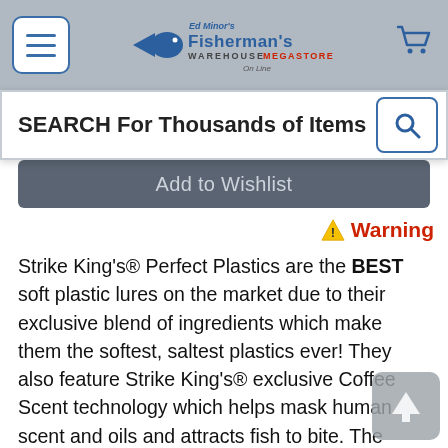Fisherman's Warehouse Megastore Online — navigation header with menu button, logo, and cart icon
SEARCH For Thousands of Items
Add to Wishlist
⚠ Warning
Strike King's® Perfect Plastics are the BEST soft plastic lures on the market due to their exclusive blend of ingredients which make them the softest, saltest plastics ever! They also feature Strike King's® exclusive Coffee Scent technology which helps mask human scent and oils and attracts fish to bite. The lifelike feel of the soft body and the taste of the extra salt cause fish to hold on longer. The soft texture is more flexible for better action and enables better hook penetration for a higher hook-up ratio. You will catch more fish using Perfect Plastics! 9 per pack